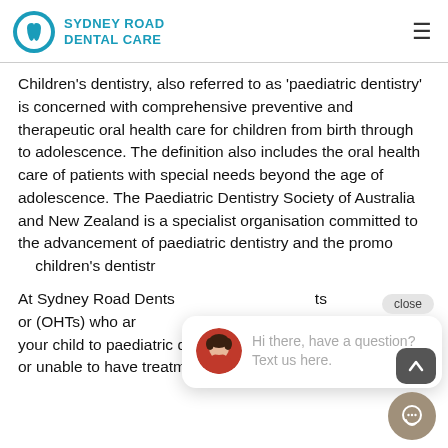SYDNEY ROAD DENTAL CARE
Children's dentistry, also referred to as 'paediatric dentistry' is concerned with comprehensive preventive and therapeutic oral health care for children from birth through to adolescence. The definition also includes the oral health care of patients with special needs beyond the age of adolescence. The Paediatric Dentistry Society of Australia and New Zealand is a specialist organisation committed to the advancement of paediatric dentistry and the promotion of children's dentistr
At Sydney Road D... or (OHTs) who are... your child to paediatric dentists if the child is uncooper... or unable to have treatment performed here at our pr...